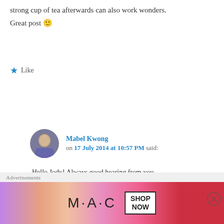strong cup of tea afterwards can also work wonders. Great post 🙂
★ Like
Reply ↓
Mabel Kwong on 17 July 2014 at 10:57 PM said:
Hello Jody! Always good hearing from you. You're right. There are different types of stress. We can stress over things happening around us. We stress physically because of, say, pushing ourselves too hard at a sport. Or
Advertisements